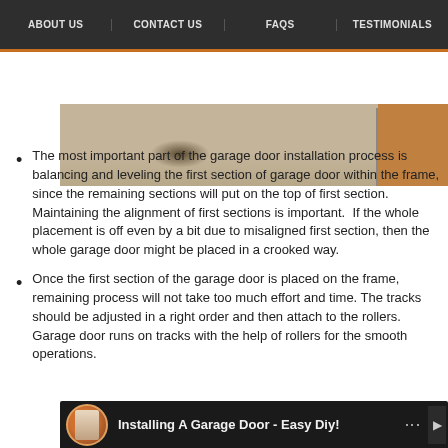ABOUT US | CONTACT US | FAQS | TESTIMONIALS
[Figure (photo): Photo of a garage floor and partially open garage door with a stain on the concrete floor, viewed from inside the garage.]
The most important part of the garage door installation process is balancing and leveling the first section of garage door within the frame, since the remaining sections will put on the top of first section. Maintaining the alignment of first sections is important.  If the whole placement is off even by a bit due to misaligned first section, then the whole garage door might be placed in a crooked way.
Once the first section of the garage door is placed on the frame, remaining process will not take too much effort and time. The tracks should be adjusted in a right order and then attach to the rollers. Garage door runs on tracks with the help of rollers for the smooth operations.
[Figure (screenshot): YouTube video thumbnail strip showing 'Installing A Garage Door - Easy Diy!' with a circular thumbnail image and three-dot menu icon.]